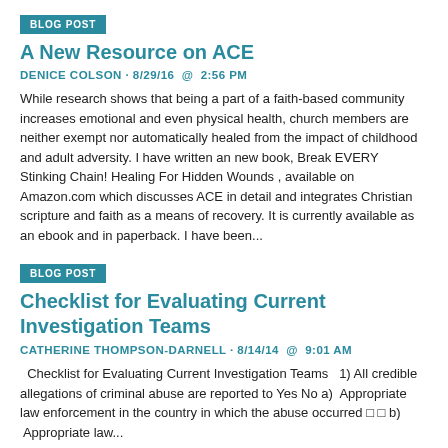BLOG POST
A New Resource on ACE
DENICE COLSON · 8/29/16  @  2:56 PM
While research shows that being a part of a faith-based community increases emotional and even physical health, church members are neither exempt nor automatically healed from the impact of childhood and adult adversity. I have written an new book, Break EVERY Stinking Chain! Healing For Hidden Wounds , available on Amazon.com which discusses ACE in detail and integrates Christian scripture and faith as a means of recovery. It is currently available as an ebook and in paperback. I have been...
BLOG POST
Checklist for Evaluating Current Investigation Teams
CATHERINE THOMPSON-DARNELL · 8/14/14  @  9:01 AM
Checklist for Evaluating Current Investigation Teams   1) All credible allegations of criminal abuse are reported to Yes No a)  Appropriate law enforcement in the country in which the abuse occurred □ □ b)  Appropriate law...